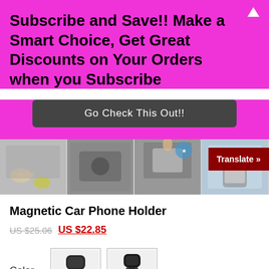Subscribe and Save!! Make a Smart Choice, Get Great Discounts on Your Orders when you Subscribe
Go Check This Out!!
[Figure (photo): Strip of four product photos showing magnetic car phone holder in various angles and uses]
Translate »
Magnetic Car Phone Holder
US $25.06  US $22.85
Color
[Figure (photo): Two color swatches showing black magnetic car phone holder product options]